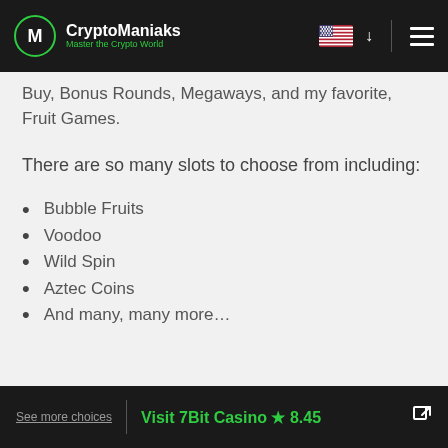CryptoManiaks — Master the Crypto World
Buy, Bonus Rounds, Megaways, and my favorite, Fruit Games.
There are so many slots to choose from including:
Bubble Fruits
Voodoo
Wild Spin
Aztec Coins
And many, many more…
See more choices | Visit 7Bit Casino ★ 8.45